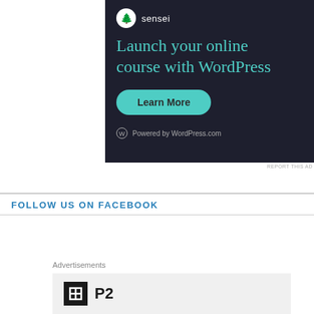[Figure (screenshot): Sensei advertisement banner on dark navy background. Shows Sensei logo (tree icon) and text, headline 'Launch your online course with WordPress' in teal, a 'Learn More' teal button, and 'Powered by WordPress.com' footer.]
REPORT THIS AD
FOLLOW US ON FACEBOOK
Advertisements
[Figure (logo): P2 logo: black square icon with white grid/box symbol, followed by bold text 'P2' on a light grey background.]